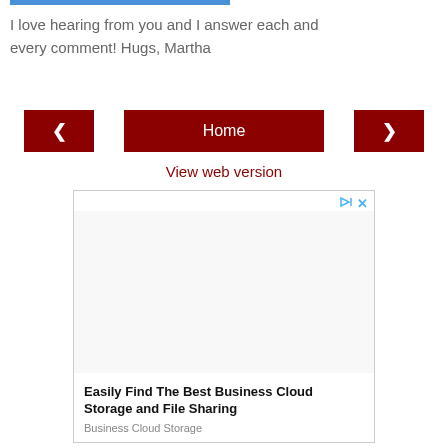I love hearing from you and I answer each and every comment! Hugs, Martha
[Figure (screenshot): Navigation row with dark red left arrow button, Home button in center, and right arrow button on the right]
View web version
[Figure (screenshot): Advertisement box with play and close icons, blank image area, headline 'Easily Find The Best Business Cloud Storage and File Sharing', subtext 'Business Cloud Storage']